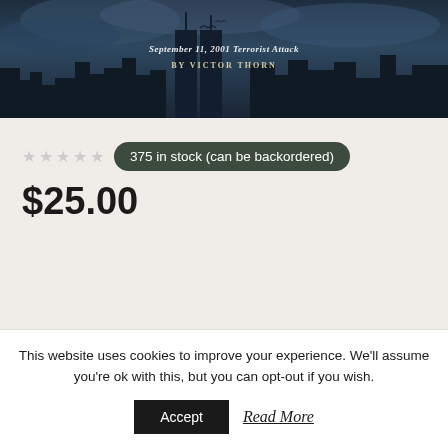[Figure (photo): Book cover showing a dark skyline (city buildings) against a stormy sky, with text 'September 11, 2001 Terrorist Attack' and 'By Victor Thorn'. Top portion of the book cover image is visible.]
★★★★★
375 in stock (can be backordered)
$25.00
This website uses cookies to improve your experience. We'll assume you're ok with this, but you can opt-out if you wish.
Accept
Read More